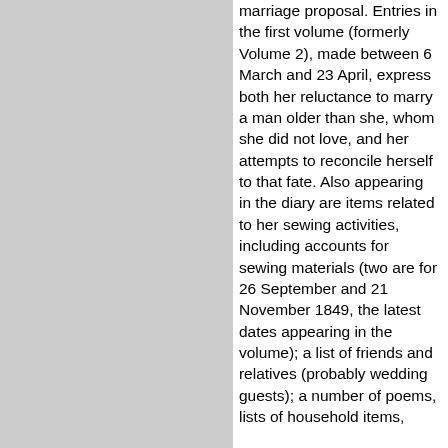marriage proposal. Entries in the first volume (formerly Volume 2), made between 6 March and 23 April, express both her reluctance to marry a man older than she, whom she did not love, and her attempts to reconcile herself to that fate. Also appearing in the diary are items related to her sewing activities, including accounts for sewing materials (two are for 26 September and 21 November 1849, the latest dates appearing in the volume); a list of friends and relatives (probably wedding guests); a number of poems, lists of household items,